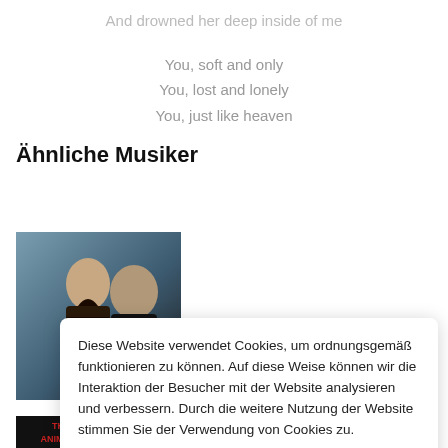And drowned her deep inside of me
You, soft and only
You, lost and lonely
You, just like heaven
Ähnliche Musiker
[Figure (photo): Two male musicians posing for a photo — one young dark-haired man in front, one bald man behind.]
25/17
Diese Website verwendet Cookies, um ordnungsgemäß funktionieren zu können. Auf diese Weise können wir die Interaktion der Besucher mit der Website analysieren und verbessern. Durch die weitere Nutzung der Website stimmen Sie der Verwendung von Cookies zu.
Akzeptieren
[Figure (photo): The Animals band logo/image — red text on dark background.]